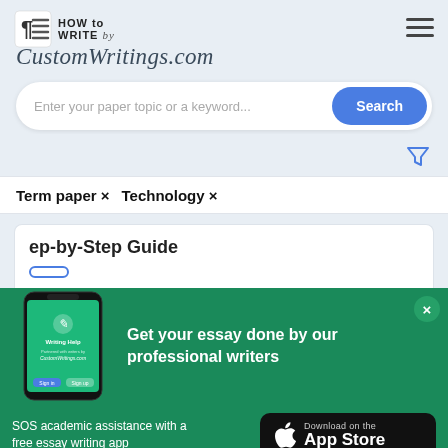[Figure (logo): HOW to WRITE by CustomWritings.com logo with paragraph icon]
[Figure (screenshot): Search bar with placeholder text and Search button]
[Figure (infographic): Filter funnel icon]
Term paper × Technology ×
ep-by-Step Guide
[Figure (infographic): Green promotional banner with phone mockup showing Writing Help app and text: Get your essay done by our professional writers, with close X button]
SOS academic assistance with a free essay writing app
[Figure (screenshot): Download on the App Store button]